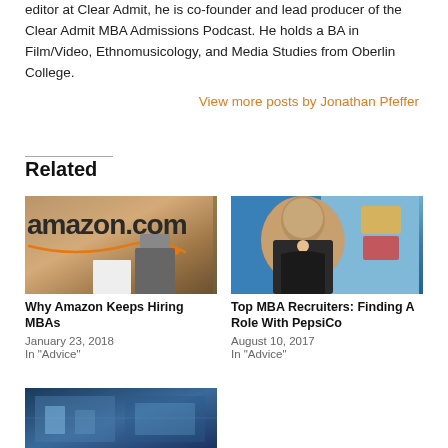editor at Clear Admit, he is co-founder and lead producer of the Clear Admit MBA Admissions Podcast. He holds a BA in Film/Video, Ethnomusicology, and Media Studies from Oberlin College.
View more posts by Jonathan Pfeffer
Related
[Figure (photo): Amazon.com office reception area with a person at the desk]
Why Amazon Keeps Hiring MBAs
January 23, 2018
In "Advice"
[Figure (photo): Woman smiling in front of colorful background (PepsiCo related)]
Top MBA Recruiters: Finding A Role With PepsiCo
August 10, 2017
In "Advice"
[Figure (photo): Blue-toned interior building photo (third related article)]